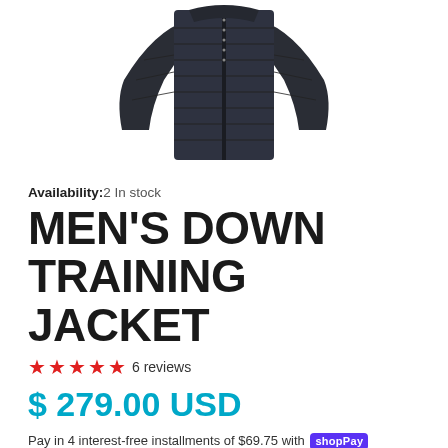[Figure (photo): Men's dark navy down training jacket with quilted body and smooth sleeve panels, shown from front, cropped at torso]
Availability: 2 In stock
MEN'S DOWN TRAINING JACKET
★★★★★ 6 reviews
$ 279.00 USD
Pay in 4 interest-free installments of $69.75 with Shop Pay. Learn more